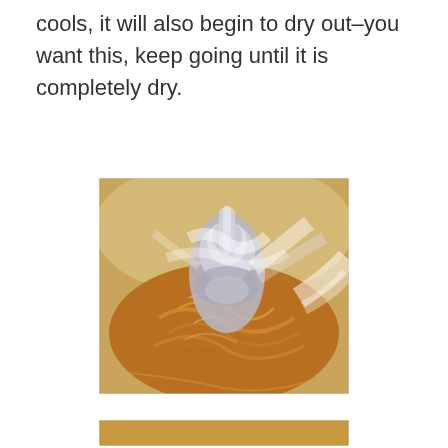cools, it will also begin to dry out–you want this, keep going until it is completely dry.
[Figure (photo): Close-up photo of a stand mixer beating caramel or toffee mixture in a metal bowl. The beater attachment is blurred with motion, showing swirling patterns of orange-brown caramel.]
[Figure (photo): Partial view of another photo at the bottom of the page, partially cut off.]